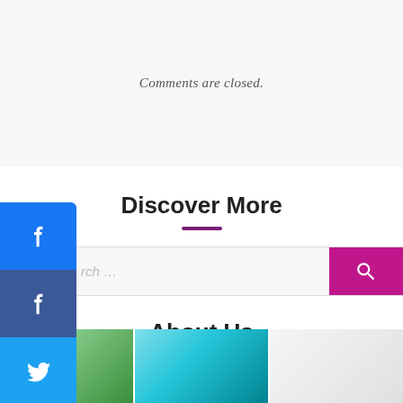Comments are closed.
Discover More
Search ...
About Us
[Figure (photo): Photo strip showing plants and a teal/turquoise decorative object]